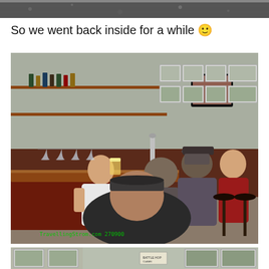[Figure (photo): Partial top strip of a dark photo, cropped view of the top of a previous image]
So we went back inside for a while 🙂
[Figure (photo): Interior of a pub/bar with several men standing and sitting at the bar counter. The bar has shelves with bottles, a TV, framed team photos on the wall, beer taps. Watermark reads TravellingStrom.com 270900]
[Figure (photo): Bottom partial strip showing framed group/team photos on a wall inside the pub]